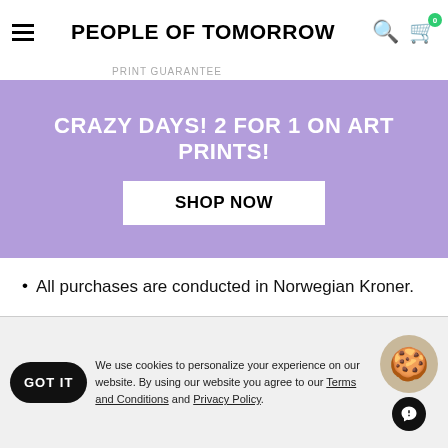PEOPLE OF TOMORROW
[Figure (screenshot): Purple promotional banner with text 'CRAZY DAYS! 2 FOR 1 ON ART PRINTS!' and a white 'SHOP NOW' button]
All purchases are conducted in Norwegian Kroner.
14 – day return policy. Item must be in original condition.
We accept Credit/Debit card, Klarna and PayPal.
Vipps for Norwegian customers.
NOTE: Klarna may not be available for all countries.
Need help? Our awesome customer service team is
We use cookies to personalize your experience on our website. By using our website you agree to our Terms and Conditions and Privacy Policy.